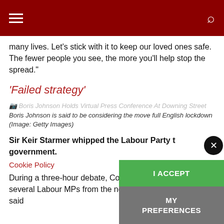Navigation header with hamburger menu and search icon
many lives. Let’s stick with it to keep our loved ones safe. The fewer people you see, the more you’ll help stop the spread.”
‘Failed strategy’
[Figure (photo): Boris Johnson Holds Virtual Press Conference At Downing Street (image placeholder)]
Boris Johnson is said to be considering the move full English lockdown (Image: Getty Images)
Sir Keir Starmer whipped the Labour Party to support the government.
Cookie Policy
During a three-hour debate, Conservative re several Labour MPs from the north-west of England – said